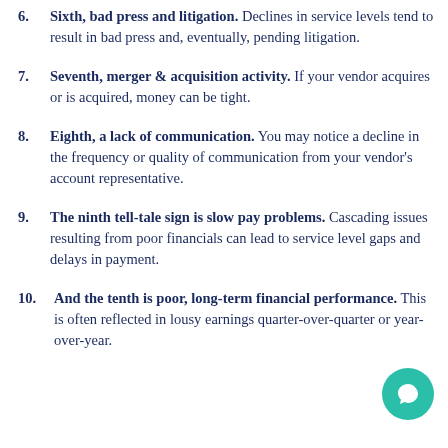6. Sixth, bad press and litigation. Declines in service levels tend to result in bad press and, eventually, pending litigation.
7. Seventh, merger & acquisition activity. If your vendor acquires or is acquired, money can be tight.
8. Eighth, a lack of communication. You may notice a decline in the frequency or quality of communication from your vendor's account representative.
9. The ninth tell-tale sign is slow pay problems. Cascading issues resulting from poor financials can lead to service level gaps and delays in payment.
10. And the tenth is poor, long-term financial performance. This is often reflected in lousy earnings quarter-over-quarter or year-over-year.